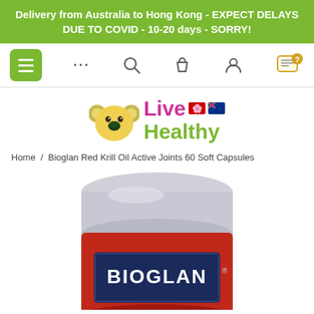Delivery from Australia to Hong Kong - EXPECT DELAYS DUE TO COVID - 10-20 days - SORRY!
[Figure (screenshot): Navigation bar with hamburger menu (green), dots menu, search icon, bag icon, account icon, and help/chat icon]
[Figure (logo): Live Healthy logo with koala bear icon, 'Live' in pink with Hong Kong and Australian flags, 'Healthy' in green]
Home / Bioglan Red Krill Oil Active Joints 60 Soft Capsules
[Figure (photo): Bioglan Red Krill Oil product bottle - red container with navy blue label showing BIOGLAN branding, silver/grey cap visible at top]